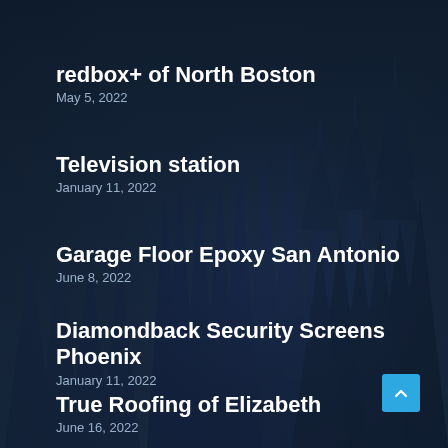[Figure (illustration): Dark navy blue background with silhouettes of pine/fir trees in darker blue tones, creating a forest skyline effect across the full page]
redbox+ of North Boston
May 5, 2022
Television station
January 11, 2022
Garage Floor Epoxy San Antonio
June 8, 2022
Diamondback Security Screens Phoenix
January 11, 2022
True Roofing of Elizabeth
June 16, 2022